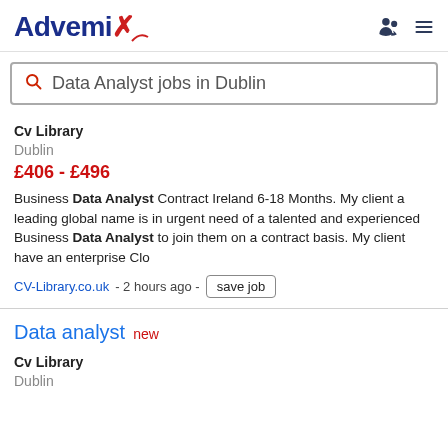Advemix
Data Analyst jobs in Dublin
Cv Library
Dublin
£406 - £496
Business Data Analyst Contract Ireland 6-18 Months. My client a leading global name is in urgent need of a talented and experienced Business Data Analyst to join them on a contract basis. My client have an enterprise Clo
CV-Library.co.uk - 2 hours ago - save job
Data analyst new
Cv Library
Dublin